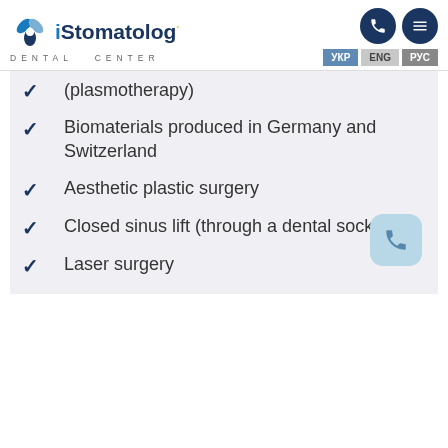iStomatolog Dental Center – УКР ENG РУС
(plasmotherapy)
Biomaterials produced in Germany and Switzerland
Aesthetic plastic surgery
Closed sinus lift (through a dental socket)
Laser surgery